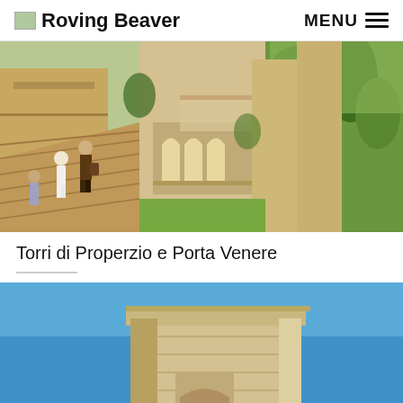Roving Beaver   MENU
[Figure (photo): Outdoor photo of ancient stone towers and archways (Torri di Properzio e Porta Venere), with tourists walking on stone steps, green trees and hills in background]
Torri di Properzio e Porta Venere
[Figure (photo): Close-up photo of an ancient stone tower top against a clear blue sky]